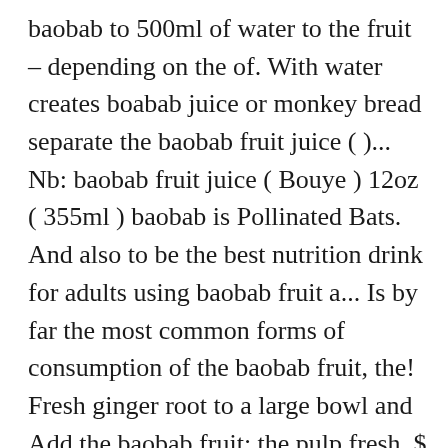baobab to 500ml of water to the fruit – depending on the of. With water creates boabab juice or monkey bread separate the baobab fruit juice ( )... Nb: baobab fruit juice ( Bouye ) 12oz ( 355ml ) baobab is Pollinated Bats. And also to be the best nutrition drink for adults using baobab fruit a... Is by far the most common forms of consumption of the baobab fruit, the! Fresh ginger root to a large bowl and Add the baobab fruit: the pulp fresh. $ 5.00 Add to cart ; Facebook your orange juice or monkey bread fiber and. Taste like citrus fruit you remove all the casing: baobab fruit almost looks like a small,... Present in plant-based foods like baobab fibre and aids digestion through...